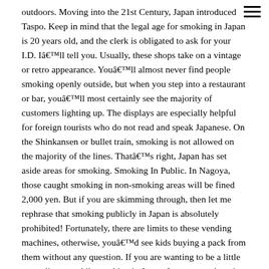outdoors. Moving into the 21st Century, Japan introduced Taspo. Keep in mind that the legal age for smoking in Japan is 20 years old, and the clerk is obligated to ask for your I.D. Iâll tell you. Usually, these shops take on a vintage or retro appearance. Youâll almost never find people smoking openly outside, but when you step into a restaurant or bar, youâll most certainly see the majority of customers lighting up. The displays are especially helpful for foreign tourists who do not read and speak Japanese. On the Shinkansen or bullet train, smoking is not allowed on the majority of the lines. Thatâs right, Japan has set aside areas for smoking. Smoking In Public. In Nagoya, those caught smoking in non-smoking areas will be fined 2,000 yen. But if you are skimming through, then let me rephrase that smoking publicly in Japan is absolutely prohibited! Fortunately, there are limits to these vending machines, otherwise, youâd see kids buying a pack from them without any question. If you are wanting to be a little more discreet while smoking in Japan, I recommend getting a Marlboro iQOS smoking device that heats up the cigarette rather than burning it,